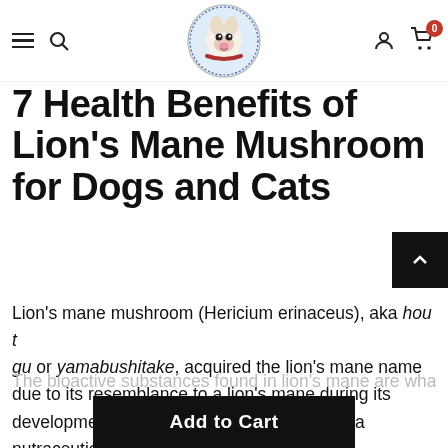The Pet Health & Nutrition Center [logo] navigation header with hamburger menu, search, user icon, and cart (0)
7 Health Benefits of Lion's Mane Mushroom for Dogs and Cats
Lion's mane mushroom (Hericium erinaceus), aka hou tou gu or yamabushitake, acquired the lion's mane name due to its resemblance to a lion's mane during its development. This mushroom is considered a nutraceutical meaning a food with medicinal benefits(1).